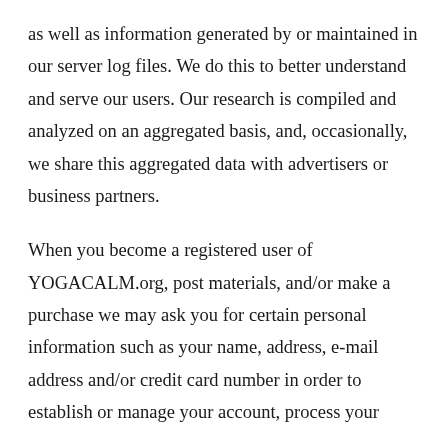as well as information generated by or maintained in our server log files. We do this to better understand and serve our users. Our research is compiled and analyzed on an aggregated basis, and, occasionally, we share this aggregated data with advertisers or business partners.
When you become a registered user of YOGACALM.org, post materials, and/or make a purchase we may ask you for certain personal information such as your name, address, e-mail address and/or credit card number in order to establish or manage your account, process your